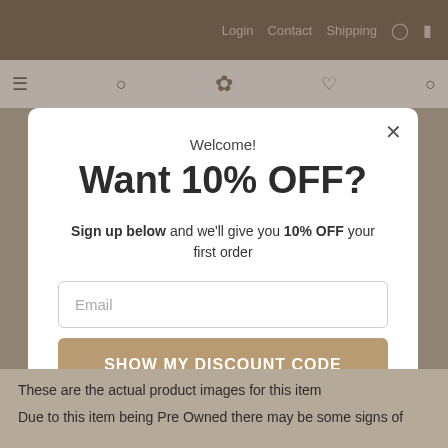Login   Contact   Shipping
Welcome!
Want 10% OFF?
Sign up below and we'll give you 10% OFF your first order
Email
SHOW MY DISCOUNT CODE
No Thanks
These are the actual product images for this item
Due to this item being Pre Owned there may be some signs of